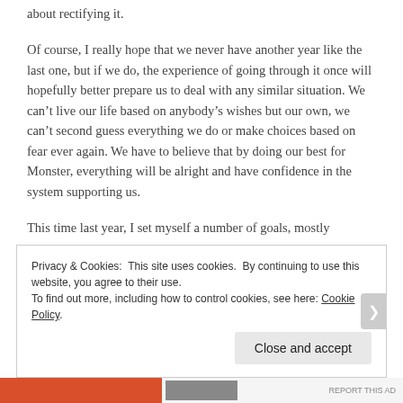about rectifying it.
Of course, I really hope that we never have another year like the last one, but if we do, the experience of going through it once will hopefully better prepare us to deal with any similar situation. We can’t live our life based on anybody’s wishes but our own, we can’t second guess everything we do or make choices based on fear ever again. We have to believe that by doing our best for Monster, everything will be alright and have confidence in the system supporting us.
This time last year, I set myself a number of goals, mostly
Privacy & Cookies: This site uses cookies. By continuing to use this website, you agree to their use.
To find out more, including how to control cookies, see here: Cookie Policy